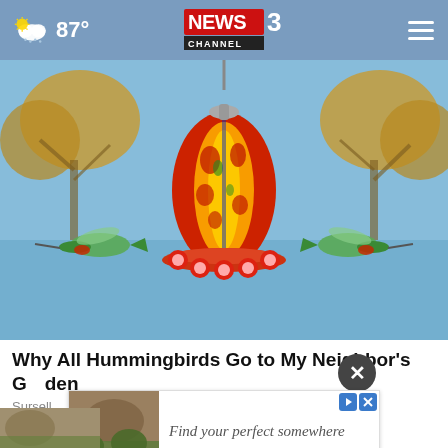87° NEWS 3 CHANNEL WREG MEMPHIS
[Figure (photo): Colorful red and yellow glass hummingbird feeder hanging outdoors with two hummingbirds feeding from it, autumn trees and water in background]
Why All Hummingbirds Go to My Neighbor's Garden
Sursell
[Figure (infographic): Advertisement banner: 'Find your perfect somewhere' with partial outdoor image on left and red H button]
[Figure (photo): Partial bottom image, appears to be an outdoor or nature photo]